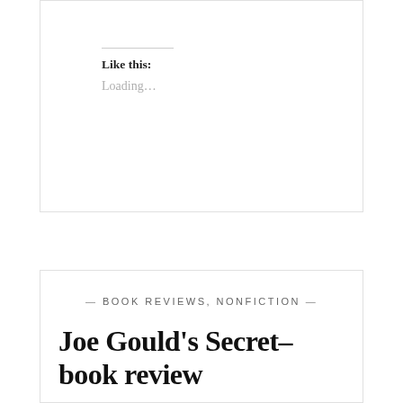Like this:
Loading...
— BOOK REVIEWS, NONFICTION —
Joe Gould's Secret–book review
DECEMBER 20, 2009
While a casual reading of Mitchell's Joe Gould's Secret might persuade the reader that the secret was that Gould never actually wrote his epic history of conversations he overheard, I think Mitchell tells us straight